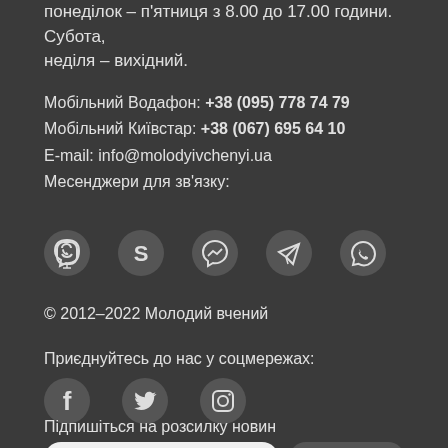понеділок – п'ятниця з 8.00 до 17.00 години. Субота, неділя – вихідний.
Мобільний Водафон: +38 (095) 778 74 79
Мобільний Київстар: +38 (067) 695 64 10
E-mail: info@molodyivchenyi.ua
Месенджери для зв'язку:
[Figure (infographic): Row of messenger icons: Viber, Skype, Messenger, Telegram, WhatsApp — white icons on dark circular backgrounds]
© 2012–2022 Молодий вчений
Приєднуйтесь до нас у соцмережах:
[Figure (infographic): Row of social media icons: Facebook, Twitter, Instagram — white icons on dark circular backgrounds]
Підпишіться на розсилку новин
username@mail.com  [input field]  Підписатися [button]